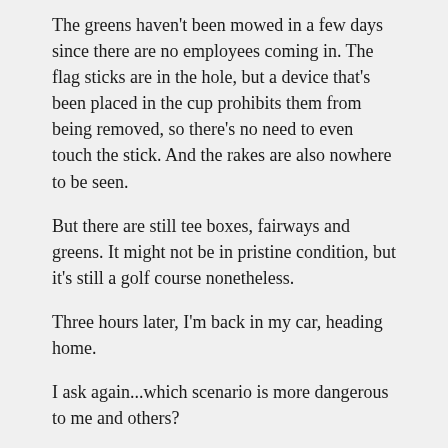The greens haven't been mowed in a few days since there are no employees coming in. The flag sticks are in the hole, but a device that's been placed in the cup prohibits them from being removed, so there's no need to even touch the stick. And the rakes are also nowhere to be seen.
But there are still tee boxes, fairways and greens. It might not be in pristine condition, but it's still a golf course nonetheless.
Three hours later, I'm back in my car, heading home.
I ask again...which scenario is more dangerous to me and others?
This is my way of saying -- "Keep the golf courses open, Governor Hogan!"